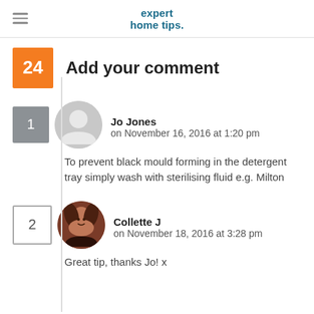expert home tips.
24  Add your comment
Jo Jones on November 16, 2016 at 1:20 pm
To prevent black mould forming in the detergent tray simply wash with sterilising fluid e.g. Milton
Collette J on November 18, 2016 at 3:28 pm
Great tip, thanks Jo! x